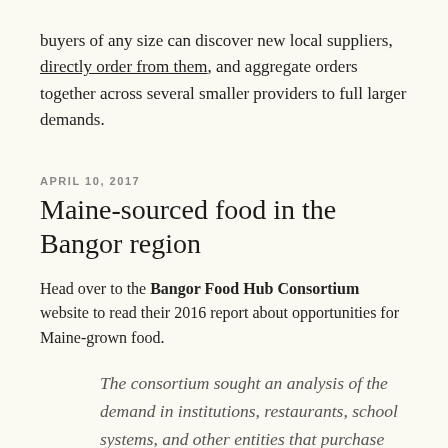buyers of any size can discover new local suppliers, directly order from them, and aggregate orders together across several smaller providers to full larger demands.
APRIL 10, 2017
Maine-sourced food in the Bangor region
Head over to the Bangor Food Hub Consortium website to read their 2016 report about opportunities for Maine-grown food.
The consortium sought an analysis of the demand in institutions, restaurants, school systems, and other entities that purchase and serve food in large quantities for